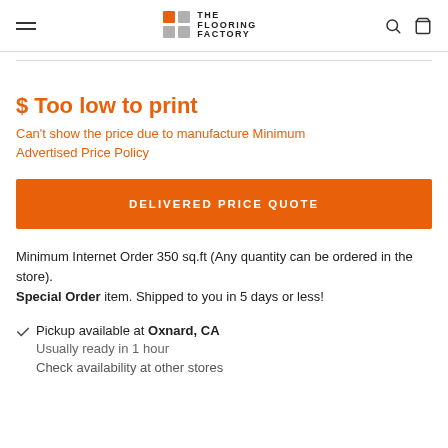The Flooring Factory
$ Too low to print
Can't show the price due to manufacture Minimum Advertised Price Policy
DELIVERED PRICE QUOTE
Minimum Internet Order 350 sq.ft (Any quantity can be ordered in the store). Special Order item. Shipped to you in 5 days or less!
Pickup available at Oxnard, CA
Usually ready in 1 hour
Check availability at other stores